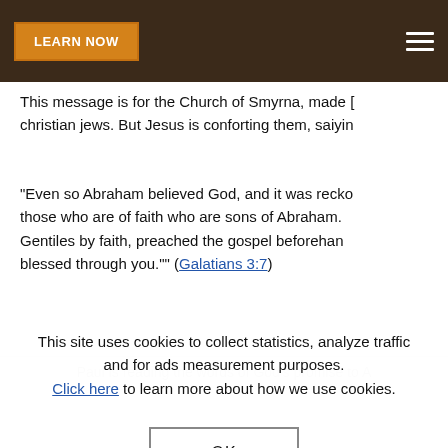LEARN NOW [navigation bar with hamburger menu]
This message is for the Church of Smyrna, made [cropped] christian jews. But Jesus is conforting them, saiyin[cropped]
“Even so Abraham believed God, and it was recko[cropped] those who are of faith who are sons of Abraham. [cropped] Gentiles by faith, preached the gospel beforehan[cropped] blessed through you.”” (Galatians 3:7)
Paul is reading the words of God’s promise to A[cropped]
This site uses cookies to collect statistics, analyze traffic and for ads measurement purposes. Click here to learn more about how we use cookies.
OK
are true sons of Abraham. He says
and if you belong to Christ, then you are Abraha[cropped]